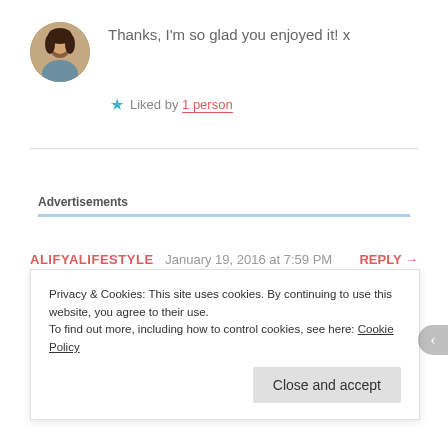Thanks, I'm so glad you enjoyed it! x
Liked by 1 person
Advertisements
ALIFYALIFESTYLE   January 19, 2016 at 7:59 PM   REPLY →
Awesome post and tips!!:)
Privacy & Cookies: This site uses cookies. By continuing to use this website, you agree to their use. To find out more, including how to control cookies, see here: Cookie Policy